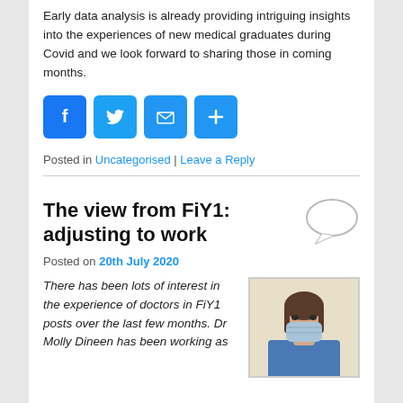Early data analysis is already providing intriguing insights into the experiences of new medical graduates during Covid and we look forward to sharing those in coming months.
[Figure (infographic): Four social sharing buttons: Facebook (blue), Twitter (blue), Email (blue envelope), Share/Plus (blue)]
Posted in Uncategorised | Leave a Reply
The view from FiY1: adjusting to work
Posted on 20th July 2020
There has been lots of interest in the experience of doctors in FiY1 posts over the last few months. Dr Molly Dineen has been working as
[Figure (photo): Photo of a doctor (Dr Molly Dineen) wearing scrubs and a surgical face mask, with long dark hair tied back.]